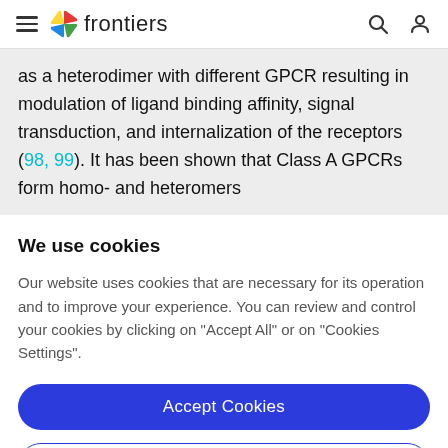frontiers
as a heterodimer with different GPCR resulting in modulation of ligand binding affinity, signal transduction, and internalization of the receptors (98, 99). It has been shown that Class A GPCRs form homo- and heteromers
We use cookies
Our website uses cookies that are necessary for its operation and to improve your experience. You can review and control your cookies by clicking on "Accept All" or on "Cookies Settings".
Accept Cookies
Cookies Settings